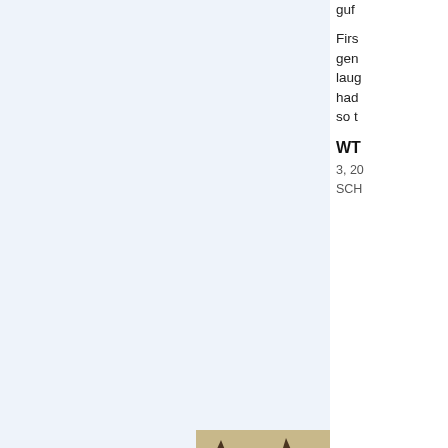guf
Firs
gen
laug
had
so t
WT
3, 20
SCH
[Figure (photo): German Shepherd dog with mouth open, pointed ears, looking at camera]
Mo
Janua
1:49
Just
two
pira
pro
This website uses cookies to ensure you get the best experience on our website.
Learn more
Got it!